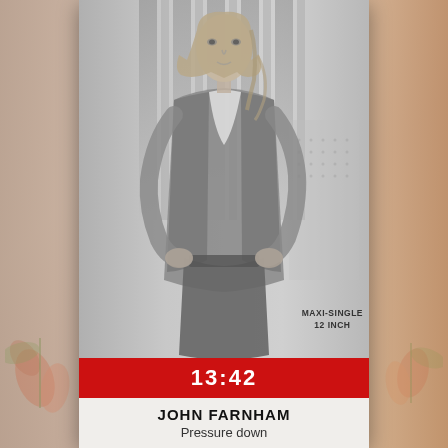[Figure (photo): Black and white promotional photo of John Farnham, a young man with medium-length hair wearing an open blazer jacket, on a light grey background with vertical stripes/columns visible]
MAXI-SINGLE
12 INCH
13:42
JOHN FARNHAM
Pressure down